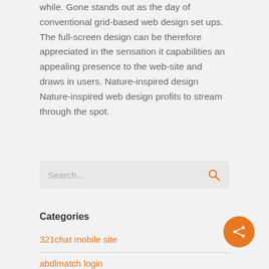while. Gone stands out as the day of conventional grid-based web design set ups. The full-screen design can be therefore appreciated in the sensation it capabilities an appealing presence to the web-site and draws in users. Nature-inspired design Nature-inspired web design profits to stream through the spot.
Search...
Categories
321chat mobile site
abdlmatch login